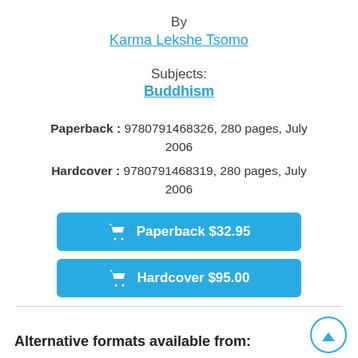By
Karma Lekshe Tsomo
Subjects:
Buddhism
Paperback : 9780791468326, 280 pages, July 2006
Hardcover : 9780791468319, 280 pages, July 2006
Paperback $32.95
Hardcover $95.00
Alternative formats available from: